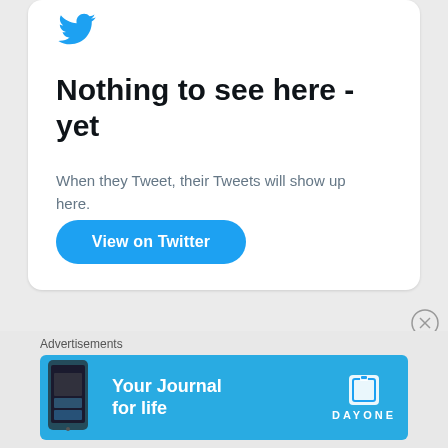[Figure (logo): Twitter blue bird logo at top of card]
Nothing to see here - yet
When they Tweet, their Tweets will show up here.
[Figure (other): Blue rounded button labeled 'View on Twitter']
Advertisements
[Figure (other): Day One app advertisement banner with text 'Your Journal for life' on blue background with phone image and Day One logo]